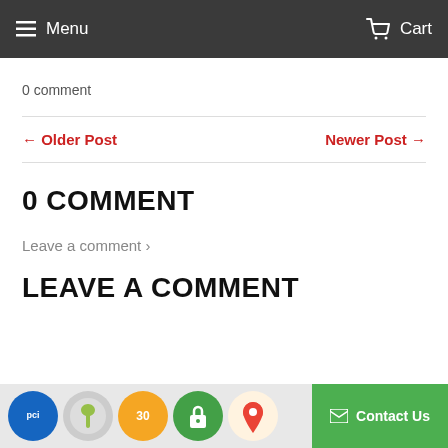Menu  Cart
0 comment
← Older Post   Newer Post →
0 COMMENT
Leave a comment ›
LEAVE A COMMENT
[Figure (infographic): Bottom trust badge bar with PCI, Shopify, 30-day, security lock, and map pin icons, plus a green Contact Us button]